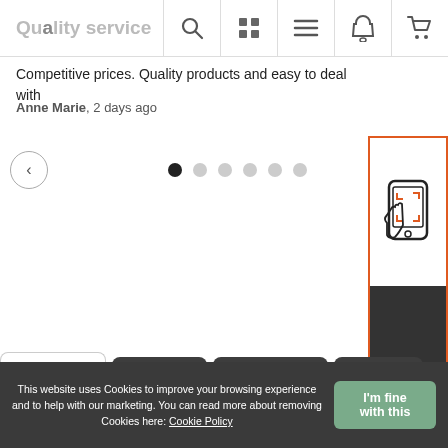Quality service
Competitive prices. Quality products and easy to deal with
Anne Marie, 2 days ago
[Figure (other): Carousel navigation with previous arrow button and 6 pagination dots (first dot active/filled)]
[Figure (other): AR widget panel with phone/scan icon and dark background label reading 'See our products in your space']
Trustpilot
Delivery
Installation
Returns
Maintenance
This website uses Cookies to improve your browsing experience and to help with our marketing. You can read more about removing Cookies here: Cookie Policy
I'm fine with this